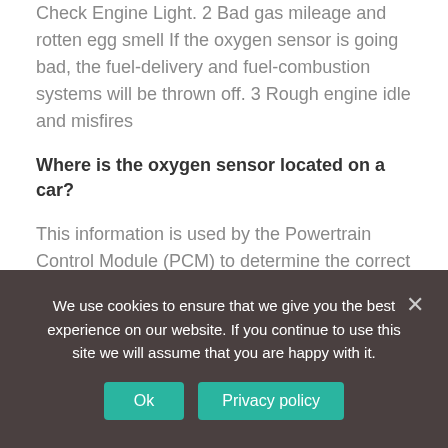Check Engine Light. 2 Bad gas mileage and rotten egg smell If the oxygen sensor is going bad, the fuel-delivery and fuel-combustion systems will be thrown off. 3 Rough engine idle and misfires
Where is the oxygen sensor located on a car?
This information is used by the Powertrain Control Module (PCM) to determine the correct air to fuel ratio for your engine in real time. The sensor is located in the exhaust system and allows the fuel injection and engine timing to work efficiently, which assists with emissions control.
We use cookies to ensure that we give you the best experience on our website. If you continue to use this site we will assume that you are happy with it.